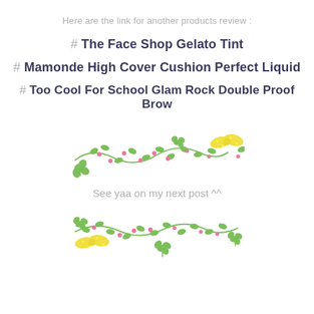Here are the link for another products review :
# The Face Shop Gelato Tint
# Mamonde High Cover Cushion Perfect Liquid
# Too Cool For School Glam Rock Double Proof Brow
[Figure (illustration): Decorative floral vine divider with green leaves, pink berries, clovers, and a yellow bow ribbon]
See yaa on my next post ^^
[Figure (illustration): Decorative floral vine divider with green leaves, pink berries, clovers, and a yellow bow ribbon (mirrored/bottom version)]